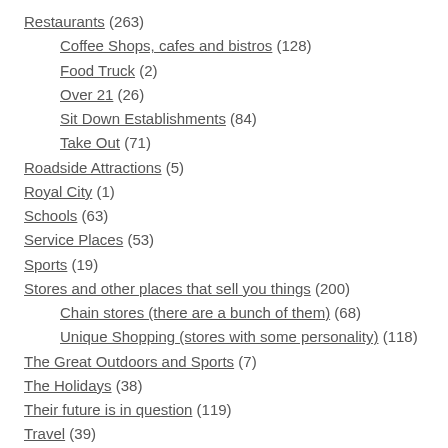Restaurants (263)
Coffee Shops, cafes and bistros (128)
Food Truck (2)
Over 21 (26)
Sit Down Establishments (84)
Take Out (71)
Roadside Attractions (5)
Royal City (1)
Schools (63)
Service Places (53)
Sports (19)
Stores and other places that sell you things (200)
Chain stores (there are a bunch of them) (68)
Unique Shopping (stores with some personality) (118)
The Great Outdoors and Sports (7)
The Holidays (38)
Their future is in question (119)
Travel (39)
Uncategorized (54)